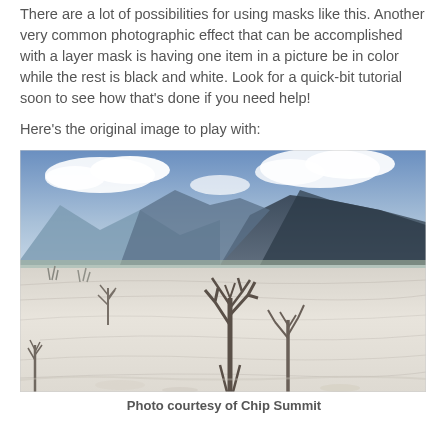There are a lot of possibilities for using masks like this. Another very common photographic effect that can be accomplished with a layer mask is having one item in a picture be in color while the rest is black and white. Look for a quick-bit tutorial soon to see how that's done if you need help!
Here's the original image to play with:
[Figure (photo): Landscape photo of Mammoth Hot Springs with dead bare trees in foreground, white mineral terraces, mountains and blue sky with clouds in background.]
Photo courtesy of Chip Summit